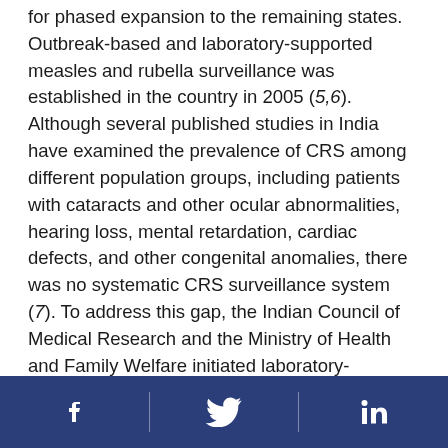for phased expansion to the remaining states. Outbreak-based and laboratory-supported measles and rubella surveillance was established in the country in 2005 (5,6). Although several published studies in India have examined the prevalence of CRS among different population groups, including patients with cataracts and other ocular abnormalities, hearing loss, mental retardation, cardiac defects, and other congenital anomalies, there was no systematic CRS surveillance system (7). To address this gap, the Indian Council of Medical Research and the Ministry of Health and Family Welfare initiated laboratory-supported surveillance for CRS in five sentinel sites in five Indian states in December 2016.

CRS surveillance is focused on identifying suspected
Social media icons: Facebook, Twitter, LinkedIn